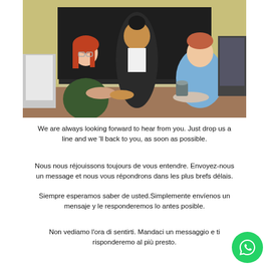[Figure (photo): Three people around a desk with a computer monitor. A woman with red hair wearing a green jacket leans over the desk, a woman with dark hair in a vest stands in the middle, and a man with reddish hair in a blue shirt sits on the right. Office/classroom setting with a blackboard behind them.]
We are always looking forward to hear from you. Just drop us a line and we 'll back to you, as soon as possible.
Nous nous réjouissons toujours de vous entendre. Envoyez-nous un message et nous vous répondrons dans les plus brefs délais.
Siempre esperamos saber de usted.Simplemente envíenos un mensaje y le responderemos lo antes posible.
Non vediamo l'ora di sentirti. Mandaci un messaggio e ti risponderemo al più presto.